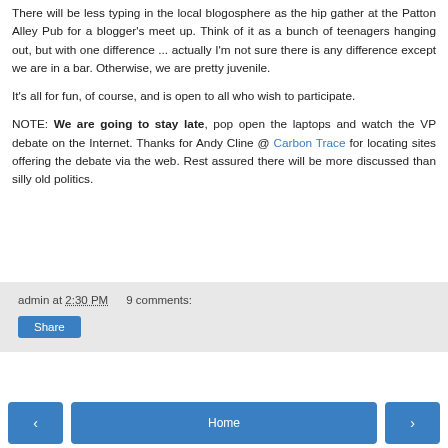There will be less typing in the local blogosphere as the hip gather at the Patton Alley Pub for a blogger's meet up. Think of it as a bunch of teenagers hanging out, but with one difference ... actually I'm not sure there is any difference except we are in a bar. Otherwise, we are pretty juvenile.
It's all for fun, of course, and is open to all who wish to participate.
NOTE: We are going to stay late, pop open the laptops and watch the VP debate on the Internet. Thanks for Andy Cline @ Carbon Trace for locating sites offering the debate via the web. Rest assured there will be more discussed than silly old politics.
admin at 2:30 PM   9 comments:
Share
Home